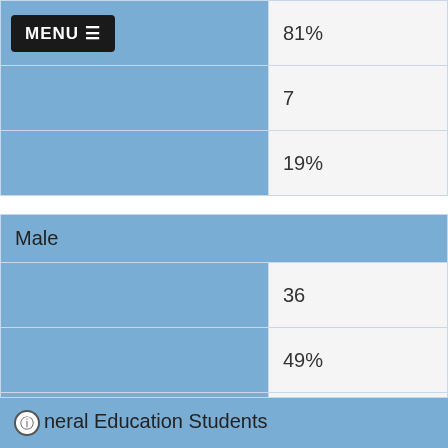| [MENU] | 81% |
|  | 7 |
|  | 19% |
| Male |  |
|  | 36 |
|  | 49% |
|  | 31 |
|  | 86% |
|  | 5 |
|  | 14% |
General Education Students